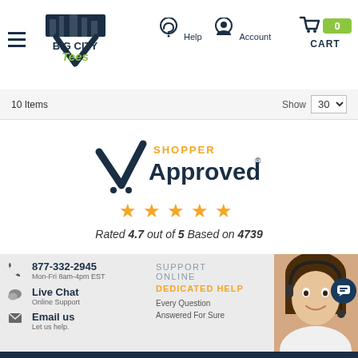Big City Tees — Help | Account | CART 0
10 Items   Show 30
[Figure (logo): Shopper Approved logo with checkmark and orange SHOPPER text above dark blue Approved text]
★ ★ ★ ★ ★  Rated 4.7 out of 5 Based on 4739
877-332-2945  Mon-Fri 8am-4pm EST
Live Chat  Online Support
Email us  Let us help.
SUPPORT
ONLINE
DEDICATED HELP
Every Question Answered For Sure
[Figure (photo): Customer service agent woman wearing headset smiling, with dark blue chat bubble icon overlay]